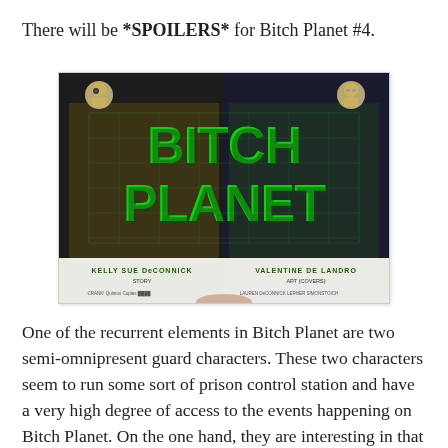There will be *SPOILERS* for Bitch Planet #4.
[Figure (photo): Open comic book showing the cover of Bitch Planet #4 with large green 3D lettering on a dark background. Credits visible: Kelly Sue DeConnick (Story), Valentine De Landro (Art).]
One of the recurrent elements in Bitch Planet are two semi-omnipresent guard characters. These two characters seem to run some sort of prison control station and have a very high degree of access to the events happening on Bitch Planet. On the one hand, they are interesting in that they operate as semi-narrators, sharing their knowledge of Bitch